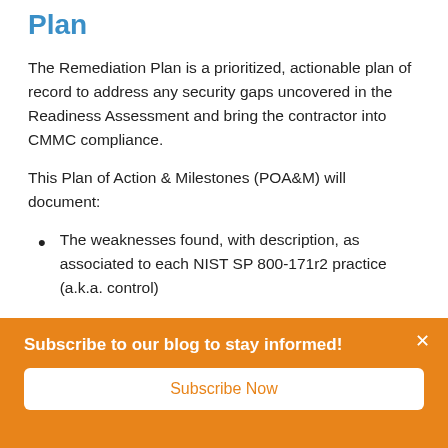Plan
The Remediation Plan is a prioritized, actionable plan of record to address any security gaps uncovered in the Readiness Assessment and bring the contractor into CMMC compliance.
This Plan of Action & Milestones (POA&M) will document:
The weaknesses found, with description, as associated to each NIST SP 800-171r2 practice (a.k.a. control)
Subscribe to our blog to stay informed!
Subscribe Now